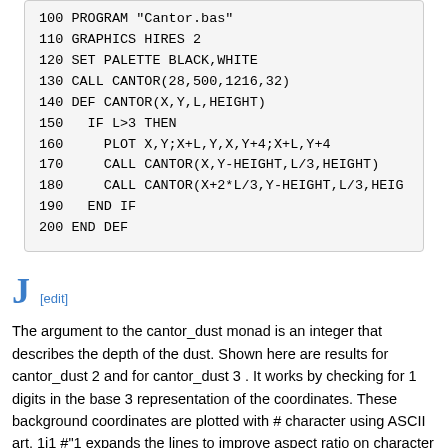100 PROGRAM "Cantor.bas"
110 GRAPHICS HIRES 2
120 SET PALETTE BLACK,WHITE
130 CALL CANTOR(28,500,1216,32)
140 DEF CANTOR(X,Y,L,HEIGHT)
150   IF L>3 THEN
160     PLOT X,Y;X+L,Y,X,Y+4;X+L,Y+4
170     CALL CANTOR(X,Y-HEIGHT,L/3,HEIGHT)
180     CALL CANTOR(X+2*L/3,Y-HEIGHT,L/3,HEIG
190   END IF
200 END DEF
J [edit]
The argument to the cantor_dust monad is an integer that describes the depth of the dust. Shown here are results for cantor_dust 2 and for cantor_dust 3 . It works by checking for 1 digits in the base 3 representation of the coordinates. These background coordinates are plotted with # character using ASCII art. 1j1 #"1 expands the lines to improve aspect ratio on character cell (console) display. }:"1 curtails the extra space character line by line. < draws a pretty box...